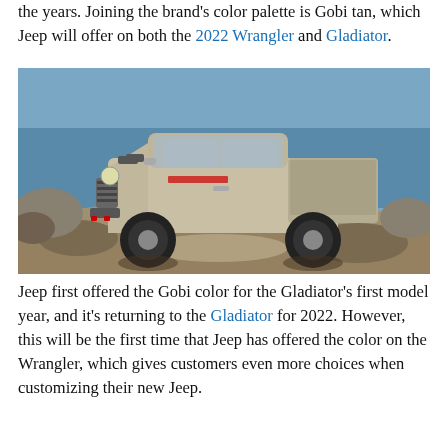the years. Joining the brand's color palette is Gobi tan, which Jeep will offer on both the 2022 Wrangler and Gladiator.
[Figure (photo): A tan/Gobi-colored Jeep Gladiator pickup truck driving on a rocky shoreline with blue water and rocks in the background.]
Jeep first offered the Gobi color for the Gladiator's first model year, and it's returning to the Gladiator for 2022. However, this will be the first time that Jeep has offered the color on the Wrangler, which gives customers even more choices when customizing their new Jeep.